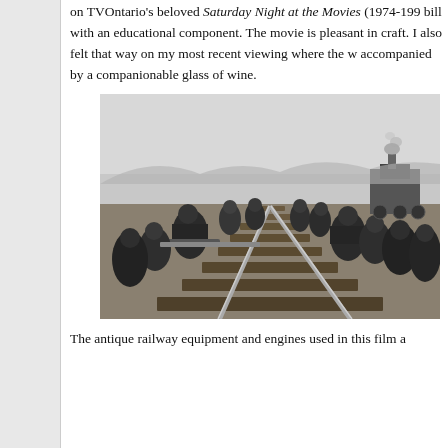on TVOntario's beloved Saturday Night at the Movies (1974-199... bill with an educational component. The movie is pleasant in ... craft. I also felt that way on my most recent viewing where the w... accompanied by a companionable glass of wine.
[Figure (photo): Black and white photograph of workers laying railway tracks. Many men are bent over handling heavy rails, with a steam locomotive visible in the background on the right. The perspective is from ground level looking down the track being laid.]
The antique railway equipment and engines used in this film a...